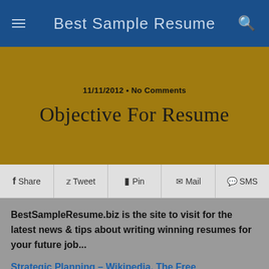Best Sample Resume
11/11/2012 • No Comments
Objective For Resume
Share  Tweet  Pin  Mail  SMS
BestSampleResume.biz is the site to visit for the latest news & tips about writing winning resumes for your future job...
Strategic Planning – Wikipedia, The Free Encyclopedia
Strategic planning is an organization's process of